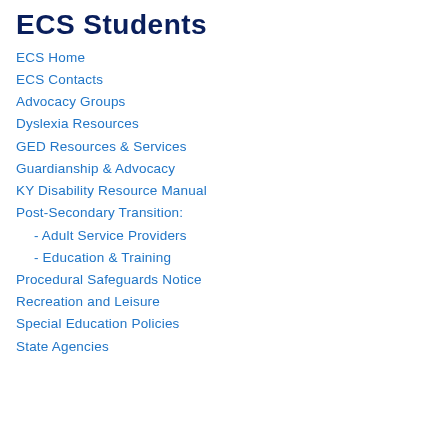ECS Students
ECS Home
ECS Contacts
Advocacy Groups
Dyslexia Resources
GED Resources & Services
Guardianship & Advocacy
KY Disability Resource Manual
Post-Secondary Transition:
- Adult Service Providers
- Education & Training
Procedural Safeguards Notice
Recreation and Leisure
Special Education Policies
State Agencies